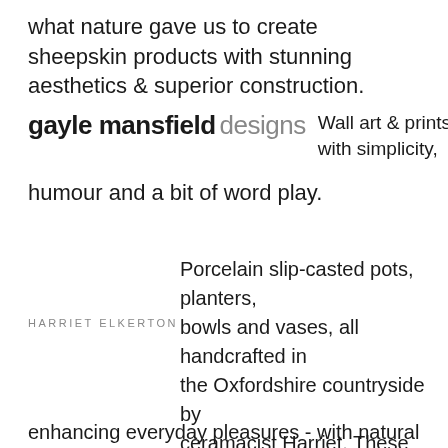what nature gave us to create sheepskin products with stunning aesthetics & superior construction.
gayle mansfield designs  Wall art & prints with simplicity, humour and a bit of word play.
HARRIET ELKERTON  Porcelain slip-casted pots, planters, bowls and vases, all handcrafted in the Oxfordshire countryside by ceramacist Harriet, These objects, with their unassuming simplicity, are designed for living and enhancing everyday pleasures - with natural materials,